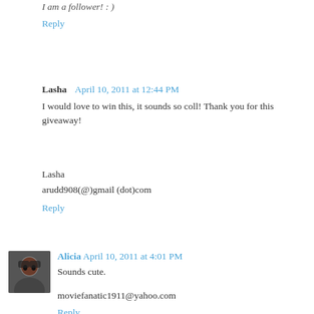I am a follower! : )
Reply
Lasha April 10, 2011 at 12:44 PM
I would love to win this, it sounds so coll! Thank you for this giveaway!
Lasha
arudd908(@)gmail (dot)com
Reply
Alicia April 10, 2011 at 4:01 PM
Sounds cute.
moviefanatic1911@yahoo.com
Reply